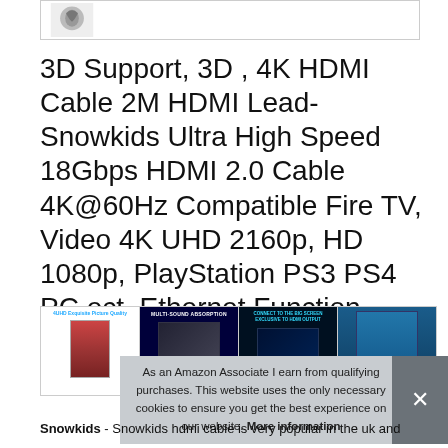[Figure (photo): Partial product image thumbnail at top of page showing a small portion of a Snowkids HDMI cable product]
3D Support, 3D , 4K HDMI Cable 2M HDMI Lead-Snowkids Ultra High Speed 18Gbps HDMI 2.0 Cable 4K@60Hz Compatible Fire TV, Video 4K UHD 2160p, HD 1080p, PlayStation PS3 PS4 PC ect, Ethernet Function
[Figure (photo): Row of four product thumbnails showing the HDMI cable product from different angles and feature callouts]
As an Amazon Associate I earn from qualifying purchases. This website uses the only necessary cookies to ensure you get the best experience on our website. More information
Snowkids - Snowkids hdmi cable is very popular in the uk and